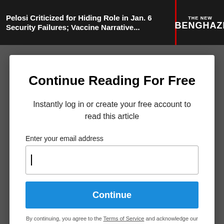[Figure (screenshot): Dark news website header showing headline 'Pelosi Criticized for Hiding Role in Jan. 6 Security Failures; Vaccine Narrative...' with a red-bordered badge reading 'THE NEW BENGHAZI' and a photo of Nancy Pelosi]
Continue Reading For Free
Instantly log in or create your free account to read this article
Enter your email address
Continue
By continuing, you agree to the Terms of Service and acknowledge our Privacy Policy.
Or
Continue with Google